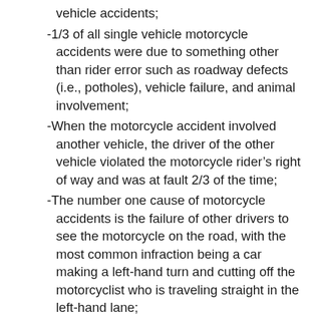vehicle accidents;
-1/3 of all single vehicle motorcycle accidents were due to something other than rider error such as roadway defects (i.e., potholes), vehicle failure, and animal involvement;
-When the motorcycle accident involved another vehicle, the driver of the other vehicle violated the motorcycle rider’s right of way and was at fault 2/3 of the time;
-The number one cause of motorcycle accidents is the failure of other drivers to see the motorcycle on the road, with the most common infraction being a car making a left-hand turn and cutting off the motorcyclist who is traveling straight in the left-hand lane;
-Motorcycle riders between the ages of 16 and 24 are over-represented in accidents, while riders between the ages of 30 and 50 are under-